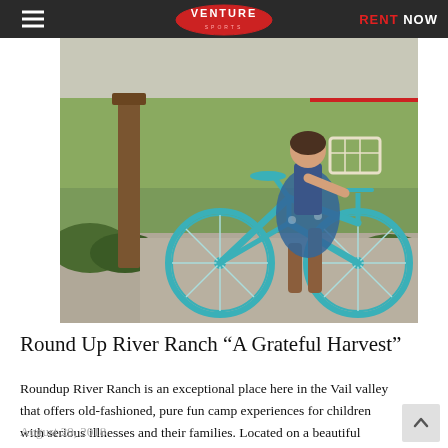≡  VENTURE  RENT NOW
[Figure (photo): A woman in a floral dress and brown cowboy boots rides a teal cruiser bicycle with a white basket on a paved path surrounded by green grass and shrubs. A wooden post is visible on the left.]
Round Up River Ranch “A Grateful Harvest”
Roundup River Ranch is an exceptional place here in the Vail valley that offers old-fashioned, pure fun camp experiences for children with serious illnesses and their families. Located on a beautiful Colorado ranch with activities all year the Ranch offers […]
August 29, 2018